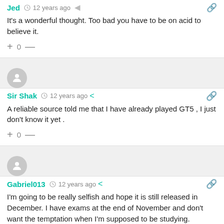Jed  12 years ago
It's a wonderful thought. Too bad you have to be on acid to believe it.
+ 0 —
Sir Shak  12 years ago
A reliable source told me that I have already played GT5 , I just don't know it yet .
+ 0 —
Gabriel013  12 years ago
I'm going to be really selfish and hope it is still released in December. I have exams at the end of November and don't want the temptation when I'm supposed to be studying.
+ 0 —